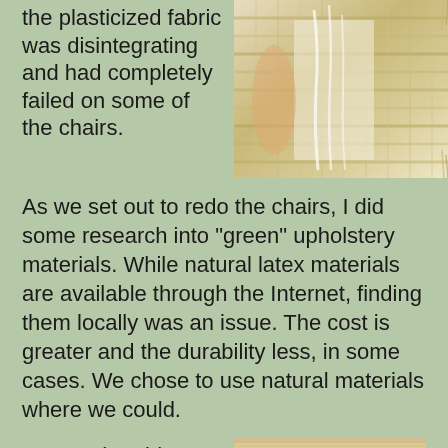the plasticized fabric was disintegrating and had completely failed on some of the chairs.
[Figure (photo): Close-up photo of woven/wicker chair material showing damage, yellowed plasticized fabric disintegrating with frayed edges visible]
As we set out to redo the chairs, I did some research into "green" upholstery materials. While natural latex materials are available through the Internet, finding them locally was an issue. The cost is greater and the durability less, in some cases. We chose to use natural materials where we could.
We cut the old synthetic
[Figure (photo): Close-up photo of woven chair webbing/straps being cut or removed, showing layered natural fiber strips]